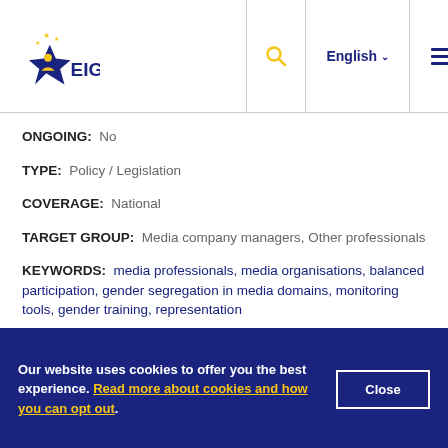EIGE — English — [search] [menu]
ONGOING: No
TYPE: Policy / Legislation
COVERAGE: National
TARGET GROUP: Media company managers, Other professionals
KEYWORDS: media professionals, media organisations, balanced participation, gender segregation in media domains, monitoring tools, gender training, representation
Our website uses cookies to offer you the best experience. Read more about cookies and how you can opt out. Close